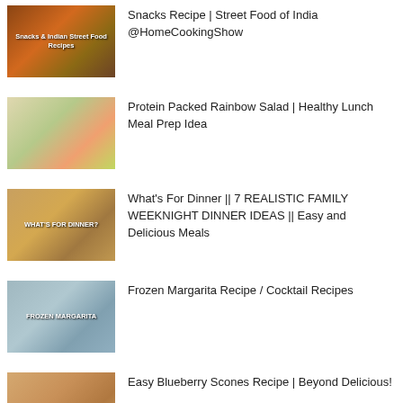[Figure (screenshot): Thumbnail of Indian snacks/street food collage]
Snacks Recipe | Street Food of India @HomeCookingShow
[Figure (photo): Thumbnail of protein packed rainbow salad in a glass container]
Protein Packed Rainbow Salad | Healthy Lunch Meal Prep Idea
[Figure (photo): Thumbnail with text 'What's For Dinner?' showing various dinner dishes]
What's For Dinner || 7 REALISTIC FAMILY WEEKNIGHT DINNER IDEAS || Easy and Delicious Meals
[Figure (photo): Thumbnail showing frozen margarita drinks with text 'Frozen Margarita']
Frozen Margarita Recipe / Cocktail Recipes
[Figure (photo): Thumbnail of blueberry scones with a man in the background]
Easy Blueberry Scones Recipe | Beyond Delicious!